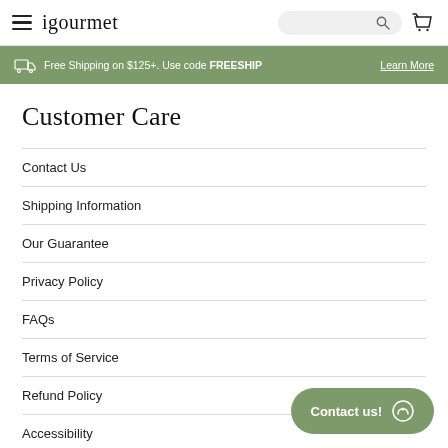igourmet — navigation header with hamburger menu, search bar, and cart icon
Free Shipping on $125+. Use code FREESHIP — Learn More
Customer Care
Contact Us
Shipping Information
Our Guarantee
Privacy Policy
FAQs
Terms of Service
Refund Policy
Accessibility
Contact us!